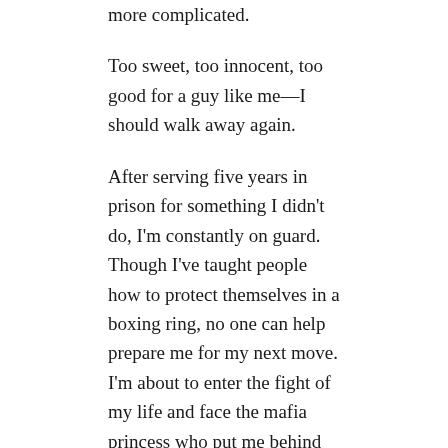more complicated.
Too sweet, too innocent, too good for a guy like me—I should walk away again.
After serving five years in prison for something I didn't do, I'm constantly on guard. Though I've taught people how to protect themselves in a boxing ring, no one can help prepare me for my next move. I'm about to enter the fight of my life and face the mafia princess who put me behind bars. She thinks I fear her and will stay away, but she has another thing coming. I plan to make her pay, but that means risking everything.
I trust no one, but Gemma gradually breaks down my walls and exposes the pain I've hidden underneath. For her own sake, I should keep my distance, but it's nearly impossible when I hear her sweet humming while I